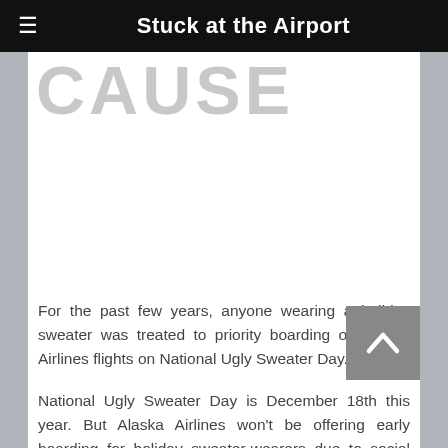Stuck at the Airport
CAUSE
For the past few years, anyone wearing a holiday sweater was treated to priority boarding on Alaska Airlines flights on National Ugly Sweater Day.
National Ugly Sweater Day is December 18th this year. But Alaska Airlines won't be offering early boarding for holiday sweater-wearers due to social distancing guidelines.
Instead, Alaska Airlines is inviting sweater fans to purchase their own Alaska Airlines-branded ugly sweater for $20 each, with the